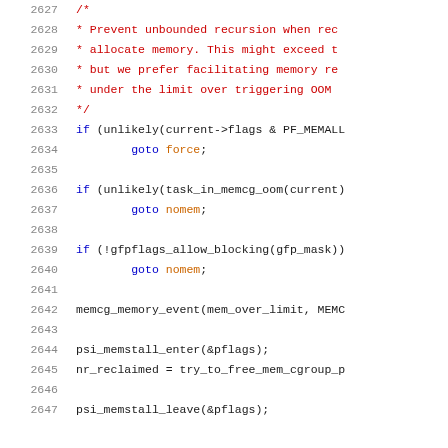2627-2647: source code snippet showing memory cgroup OOM handling in C (Linux kernel)